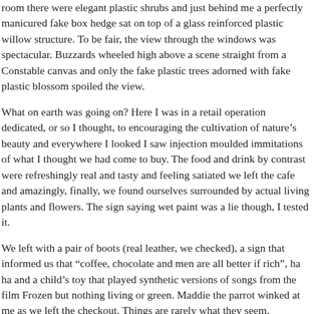room there were elegant plastic shrubs and just behind me a perfectly manicured fake box hedge sat on top of a glass reinforced plastic willow structure. To be fair, the view through the windows was spectacular. Buzzards wheeled high above a scene straight from a Constable canvas and only the fake plastic trees adorned with fake plastic blossom spoiled the view.
What on earth was going on? Here I was in a retail operation dedicated, or so I thought, to encouraging the cultivation of nature's beauty and everywhere I looked I saw injection moulded immitations of what I thought we had come to buy. The food and drink by contrast were refreshingly real and tasty and feeling satiated we left the cafe and amazingly, finally, we found ourselves surrounded by actual living plants and flowers. The sign saying wet paint was a lie though, I tested it.
We left with a pair of boots (real leather, we checked), a sign that informed us that “coffee, chocolate and men are all better if rich”, ha ha and a child’s toy that played synthetic versions of songs from the film Frozen but nothing living or green. Maddie the parrot winked at me as we left the checkout. Things are rarely what they seem.